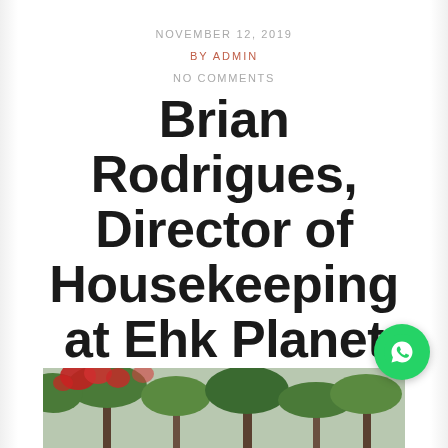NOVEMBER 12, 2019
BY ADMIN
NO COMMENTS
Brian Rodrigues, Director of Housekeeping at Ehk Planet Hollywood
[Figure (photo): Outdoor photo showing trees with red flowers/decorations against a green background]